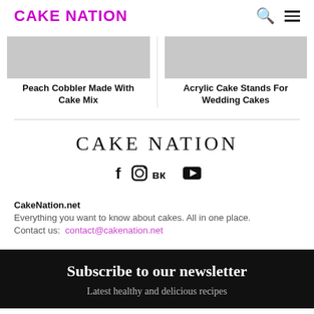CAKE NATION
Peach Cobbler Made With Cake Mix
Acrylic Cake Stands For Wedding Cakes
CAKE NATION
CakeNation.net
Everything you want to know about cakes. All in one place.
Contact us: contact@cakenation.net
Subscribe to our newsletter
Latest healthy and delicious recipes